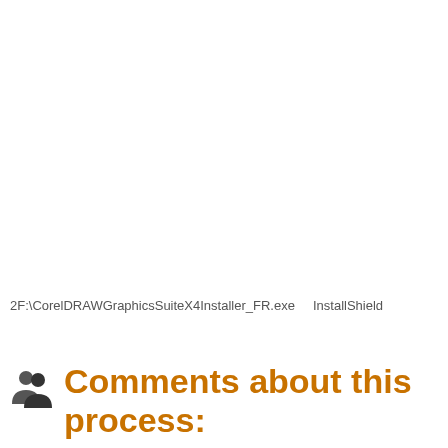2F:\CorelDRAWGraphicsSuiteX4Installer_FR.exe    InstallShield
Comments about this process: